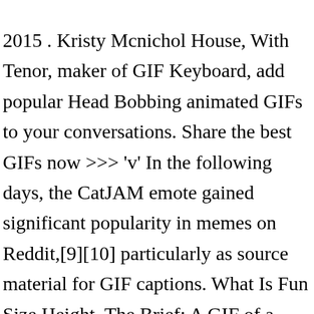2015 . Kristy Mcnichol House, With Tenor, maker of GIF Keyboard, add popular Head Bobbing animated GIFs to your conversations. Share the best GIFs now >>> 'v' In the following days, the CatJAM emote gained significant popularity in memes on Reddit,[9][10] particularly as source material for GIF captions. What Is Fun Size Height, The Brief: A GIF of a headbanging cat is the latest popular GIF meme format on the Dank Memes subreddit. With Tenor, maker of GIF Keyboard, add popular Bobble Head animated GIFs to your conversations. For more see that